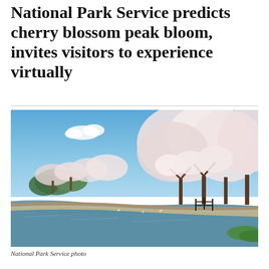National Park Service predicts cherry blossom peak bloom, invites visitors to experience virtually
[Figure (photo): Photograph of cherry blossom trees in peak bloom along the Tidal Basin in Washington D.C., with blue sky overhead and a curved pathway along the water's edge. National Park Service photo.]
National Park Service photo